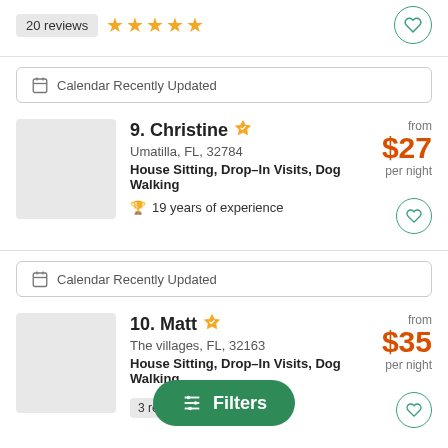20 reviews ★★★★★
Calendar Recently Updated
9. Christine
Umatilla, FL, 32784
House Sitting, Drop–In Visits, Dog Walking
19 years of experience
from $27 per night
Calendar Recently Updated
10. Matt
The villages, FL, 32163
House Sitting, Drop–In Visits, Dog Walking
3 reviews
from $35 per night
[Figure (other): Green Filters button overlay at bottom center]